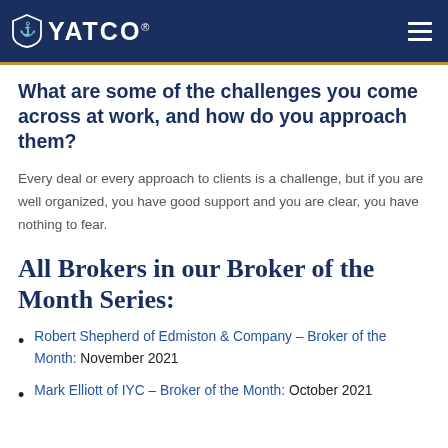YATCO
What are some of the challenges you come across at work, and how do you approach them?
Every deal or every approach to clients is a challenge, but if you are well organized, you have good support and you are clear, you have nothing to fear.
All Brokers in our Broker of the Month Series:
Robert Shepherd of Edmiston & Company – Broker of the Month: November 2021
Mark Elliott of IYC – Broker of the Month: October 2021